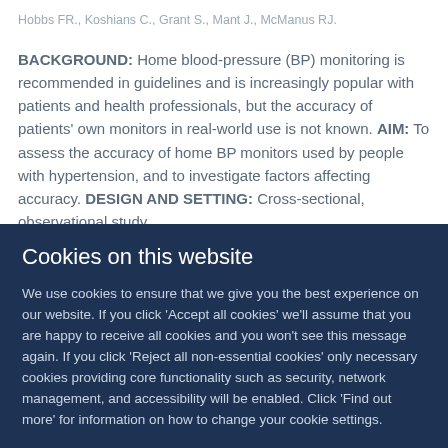Hobbs FR., Koshians C., Grant S., Mant J., McManus RJ.
BACKGROUND: Home blood-pressure (BP) monitoring is recommended in guidelines and is increasingly popular with patients and health professionals, but the accuracy of patients' own monitors in real-world use is not known. AIM: To assess the accuracy of home BP monitors used by people with hypertension, and to investigate factors affecting accuracy. DESIGN AND SETTING: Cross-sectional, observational study
Cookies on this website
We use cookies to ensure that we give you the best experience on our website. If you click 'Accept all cookies' we'll assume that you are happy to receive all cookies and you won't see this message again. If you click 'Reject all non-essential cookies' only necessary cookies providing core functionality such as security, network management, and accessibility will be enabled. Click 'Find out more' for information on how to change your cookie settings.